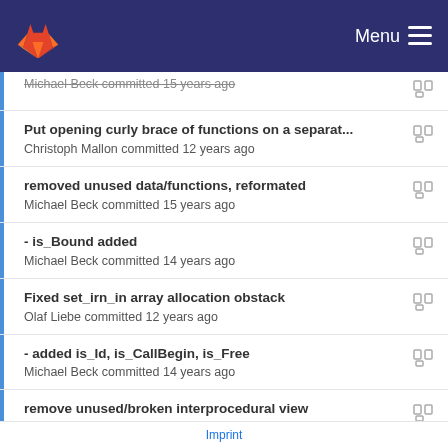GitLab Menu
Michael Beck committed 15 years ago (cut off at top)
Put opening curly brace of functions on a separat...
Christoph Mallon committed 12 years ago
removed unused data/functions, reformated
Michael Beck committed 15 years ago
- is_Bound added
Michael Beck committed 14 years ago
Fixed set_irn_in array allocation obstack
Olaf Liebe committed 12 years ago
- added is_Id, is_CallBegin, is_Free
Michael Beck committed 14 years ago
remove unused/broken interprocedural view
Matthias Braun committed 12 years ago
- added is_Id, is_CallBegin, is_Free (partial/cut off at bottom)
Imprint